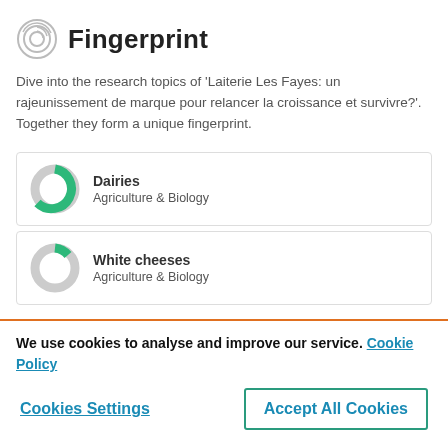Fingerprint
Dive into the research topics of 'Laiterie Les Fayes: un rajeunissement de marque pour relancer la croissance et survivre?'. Together they form a unique fingerprint.
[Figure (donut-chart): Dairies - Agriculture & Biology donut chart, mostly green filled]
[Figure (donut-chart): White cheeses - Agriculture & Biology donut chart, small green arc on mostly grey circle]
We use cookies to analyse and improve our service. Cookie Policy
Cookies Settings
Accept All Cookies